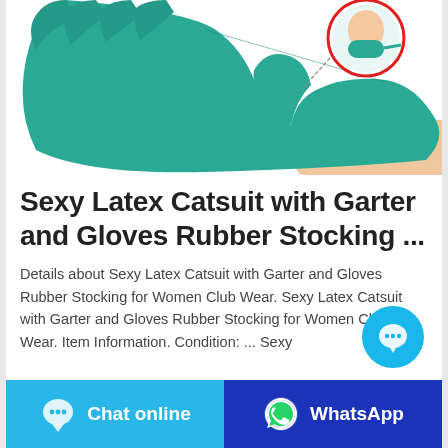[Figure (photo): Product photo showing a teal/green latex glove being worn on a hand, with a small inset circle showing a close-up of a person wearing a teal latex mask or covering over their mouth.]
Sexy Latex Catsuit with Garter and Gloves Rubber Stocking ...
Details about Sexy Latex Catsuit with Garter and Gloves Rubber Stocking for Women Club Wear. Sexy Latex Catsuit with Garter and Gloves Rubber Stocking for Women Club Wear. Item Information. Condition: ... Sexy
[Figure (illustration): Floating cyan chat bubble button (speech bubble with three dots)]
Chat online
WhatsApp